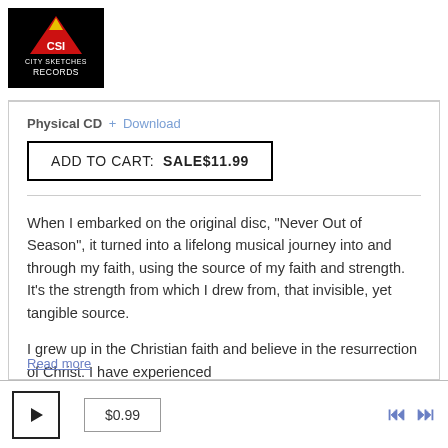[Figure (logo): City Sketches Records logo — black background with red triangle, CSI text, and white text reading CITY SKETCHES RECORDS]
Physical CD + Download
ADD TO CART: SALE$11.99
When I embarked on the original disc, "Never Out of Season", it turned into a lifelong musical journey into and through my faith, using the source of my faith and strength. It's the strength from which I drew from, that invisible, yet tangible source.
I grew up in the Christian faith and believe in the resurrection of Christ. I have experienced
Read more
$0.99